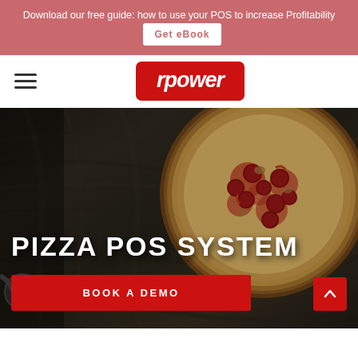Download our free guide: how to use your POS to increase Profitability  Get eBook
[Figure (logo): rpower logo — white italic bold text on red rounded rectangle background]
PIZZA POS SYSTEM
[Figure (photo): Dark wood table background with a pepperoni pizza on a wooden board, in dark moody lighting]
BOOK A DEMO